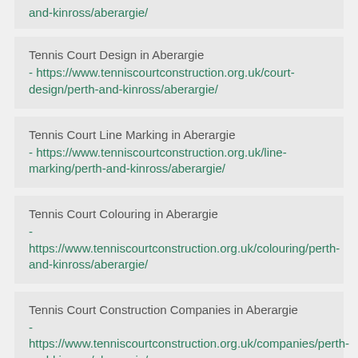and-kinross/aberargie/ (partial top card URL ending)
Tennis Court Design in Aberargie - https://www.tenniscourtconstruction.org.uk/court-design/perth-and-kinross/aberargie/
Tennis Court Line Marking in Aberargie - https://www.tenniscourtconstruction.org.uk/line-marking/perth-and-kinross/aberargie/
Tennis Court Colouring in Aberargie - https://www.tenniscourtconstruction.org.uk/colouring/perth-and-kinross/aberargie/
Tennis Court Construction Companies in Aberargie - https://www.tenniscourtconstruction.org.uk/companies/perth-and-kinross/aberargie/
Tennis Court Dimensions in Aberargie (partial)